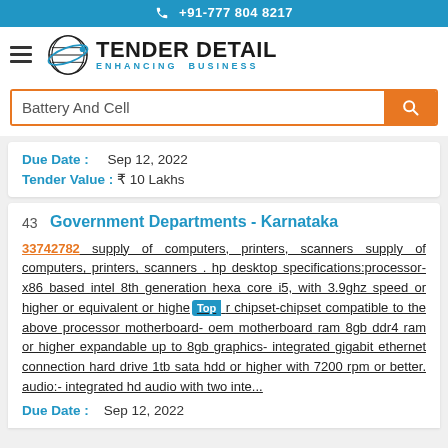+91-777 804 8217
[Figure (logo): Tender Detail logo with globe icon and tagline ENHANCING BUSINESS]
Battery And Cell (search box)
Due Date : Sep 12, 2022
Tender Value : ₹ 10 Lakhs
43  Government Departments - Karnataka
33742782 supply of computers, printers, scanners supply of computers, printers, scanners . hp desktop specifications:processor-x86 based intel 8th generation hexa core i5, with 3.9ghz speed or higher or equivalent or higher chipset-chipset compatible to the above processor motherboard- oem motherboard ram 8gb ddr4 ram or higher expandable up to 8gb graphics- integrated gigabit ethernet connection hard drive 1tb sata hdd or higher with 7200 rpm or better. audio:- integrated hd audio with two inte...
Due Date : Sep 12, 2022